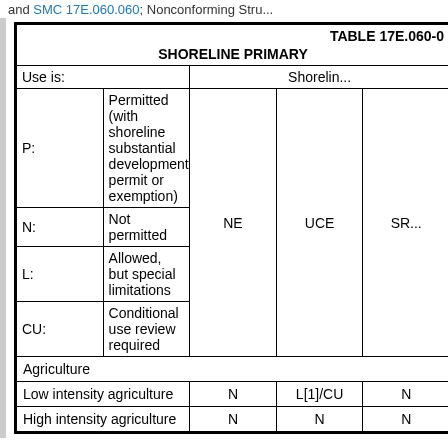and SMC 17E.060.060; Nonconforming Stru...
| TABLE 17E.060-0 | SHORELINE PRIMARY | Use is: | Shoreline... | P: | Permitted (with shoreline substantial development permit or exemption) | NE | UCE | SR... | N: | Not permitted | L: | Allowed, but special limitations | CU: | Conditional use review required | Agriculture | Low intensity agriculture | N | L[1]/CU | N | High intensity agriculture | N | N | N |
| --- | --- | --- | --- | --- | --- | --- | --- | --- | --- | --- | --- | --- | --- | --- | --- | --- | --- | --- | --- | --- | --- | --- | --- |